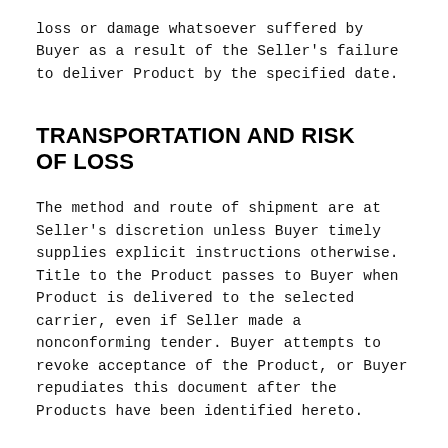loss or damage whatsoever suffered by Buyer as a result of the Seller's failure to deliver Product by the specified date.
TRANSPORTATION AND RISK OF LOSS
The method and route of shipment are at Seller's discretion unless Buyer timely supplies explicit instructions otherwise. Title to the Product passes to Buyer when Product is delivered to the selected carrier, even if Seller made a nonconforming tender. Buyer attempts to revoke acceptance of the Product, or Buyer repudiates this document after the Products have been identified hereto.
CANCELLATION OR MODIFICATION